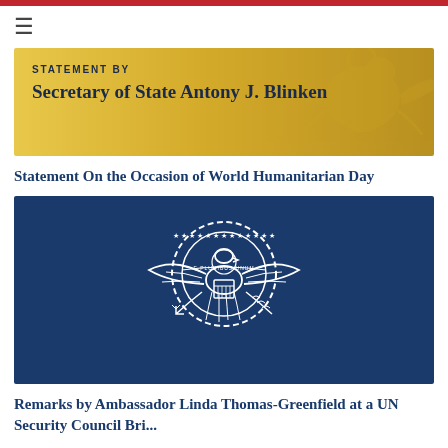≡
[Figure (illustration): Golden banner with US State Department eagle seal watermark on the right side. Text reads 'STATEMENT BY' and 'Secretary of State Antony J. Blinken']
Statement On the Occasion of World Humanitarian Day
[Figure (logo): US Department of State Great Seal (eagle with shield, arrows and olive branch) in white outline on dark navy blue background]
Remarks by Ambassador Linda Thomas-Greenfield at a UN Security Council Briefing on Yemen